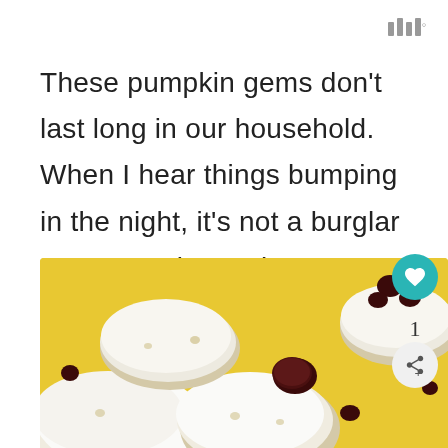|||°
These pumpkin gems don't last long in our household. When I hear things bumping in the night, it's not a burglar or Santa Clause, it's my husband scrounging for these pumpkin goodies.
[Figure (photo): Close-up photo of frosted pumpkin cookies with dried cranberries/raisins on a bright yellow background]